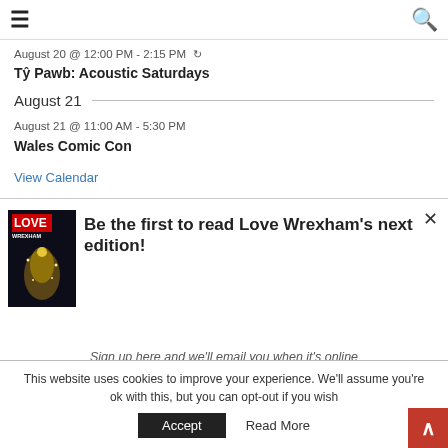≡  🔍
August 20 @ 12:00 PM - 2:15 PM ↻
Tŷ Pawb: Acoustic Saturdays
August 21
August 21 @ 11:00 AM - 5:30 PM
Wales Comic Con
View Calendar
[Figure (other): Love Wrexham magazine cover with Christmas tree image]
Be the first to read Love Wrexham's next edition!
Sign up here and we'll email you when it's online
This website uses cookies to improve your experience. We'll assume you're ok with this, but you can opt-out if you wish
Accept  Read More